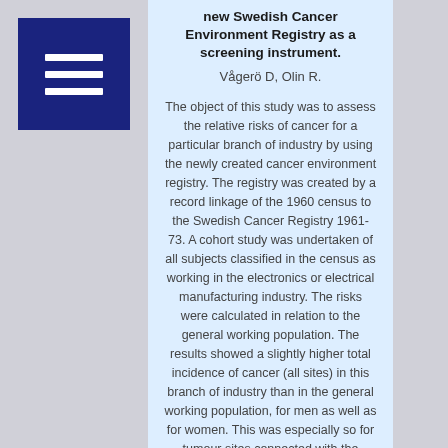new Swedish Cancer Environment Registry as a screening instrument.
Vågerö D, Olin R.
The object of this study was to assess the relative risks of cancer for a particular branch of industry by using the newly created cancer environment registry. The registry was created by a record linkage of the 1960 census to the Swedish Cancer Registry 1961-73. A cohort study was undertaken of all subjects classified in the census as working in the electronics or electrical manufacturing industry. The risks were calculated in relation to the general working population. The results showed a slightly higher total incidence of cancer (all sites) in this branch of industry than in the general working population, for men as well as for women. This was especially so for tumour sites connected with the pharynx and the respiratory system. The study also indicates